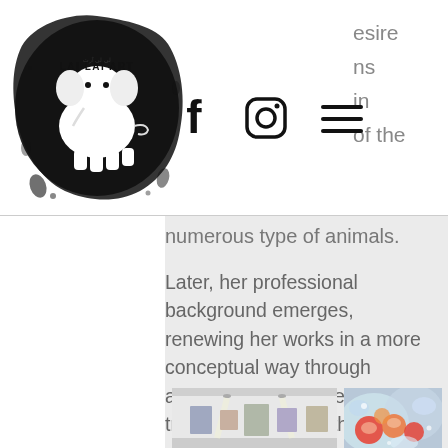[Figure (logo): Lai Lai Art logo — black ink elephant with text in a circular splash design]
[Figure (infographic): Navigation icons: Facebook (f), Instagram (circle with camera), hamburger menu (three lines)]
esire
ns
in
of the
numerous type of animals.
Later, her professional background emerges, renewing her works in a more conceptual way through abstract art. At present she is trying to present to the public/viewers with awider interpretation of her perspectives. Alice believes that art must be subjectively perceived, and that interpretation is the base of the work, not the consequence.
[Figure (photo): Gallery interior photo showing white walls with artwork hung and gallery lights]
[Figure (photo): Abstract colorful painting with red, orange, blue and white floral/artistic motifs]